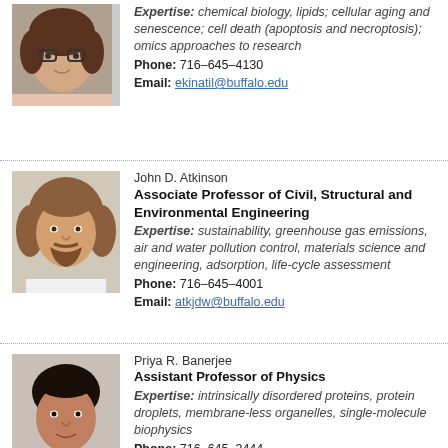[Figure (photo): Headshot of a woman with glasses and curly dark hair]
Expertise: chemical biology, lipids; cellular aging and senescence; cell death (apoptosis and necroptosis); omics approaches to research
Phone: 716-645-4130
Email: ekinatil@buffalo.edu
[Figure (photo): Headshot of John D. Atkinson, a man with curly brown hair and a beard]
John D. Atkinson
Associate Professor of Civil, Structural and Environmental Engineering
Expertise: sustainability, greenhouse gas emissions, air and water pollution control, materials science and engineering, adsorption, life-cycle assessment
Phone: 716-645-4001
Email: atkjdw@buffalo.edu
[Figure (photo): Headshot of Priya R. Banerjee, a man with dark hair]
Priya R. Banerjee
Assistant Professor of Physics
Expertise: intrinsically disordered proteins, protein droplets, membrane-less organelles, single-molecule biophysics
Phone: 716-645-3444
Email: prbanerj@buffalo.edu